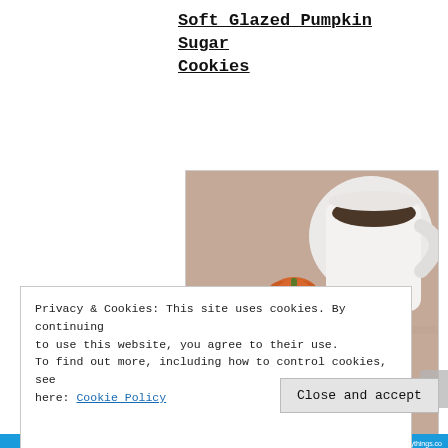Soft Glazed Pumpkin Sugar Cookies
[Figure (photo): Photo of soft glazed pumpkin sugar cookies stacked on a white plate, with a small decorative pumpkin and a mug of coffee in the background on a pink surface]
Privacy & Cookies: This site uses cookies. By continuing to use this website, you agree to their use.
To find out more, including how to control cookies, see here: Cookie Policy
Close and accept